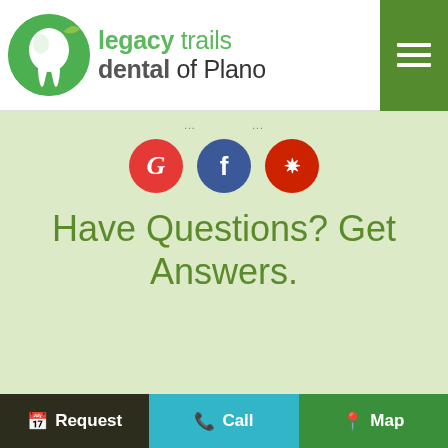[Figure (logo): Legacy Trails Dental of Plano logo with green tooth icon and green/black text]
Have Questions? Get Answers.
[Figure (infographic): Social media icons: Google (red), Facebook (blue), Yelp (red)]
Name
Phone Number
Email Address
How can we help you?
Request   Call   Map